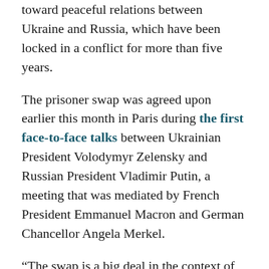toward peaceful relations between Ukraine and Russia, which have been locked in a conflict for more than five years.
The prisoner swap was agreed upon earlier this month in Paris during the first face-to-face talks between Ukrainian President Volodymyr Zelensky and Russian President Vladimir Putin, a meeting that was mediated by French President Emmanuel Macron and German Chancellor Angela Merkel.
“The swap is a big deal in the context of Ukraine-Russia relations and the ongoing war,” Christopher Miller, a Kyiv-based journalist, told Vox. “Momentum for solving the war had stalled for nearly three years under Ukraine’s previous president, Petro Poroshenko. Peace talks between Kiev and Moscow were revived after Zelensky was elected.”